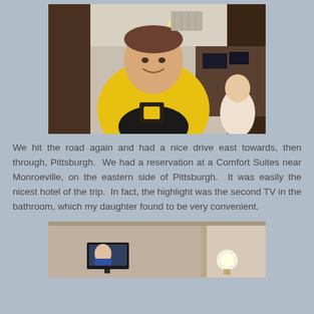[Figure (photo): A man wearing a yellow Pittsburgh Pirates jersey smiling at the camera inside a restaurant or bar.]
We hit the road again and had a nice drive east towards, then through, Pittsburgh.  We had a reservation at a Comfort Suites near Monroeville, on the eastern side of Pittsburgh.  It was easily the nicest hotel of the trip.  In fact, the highlight was the second TV in the bathroom, which my daughter found to be very convenient.
[Figure (photo): A small flat-screen TV mounted in a bathroom.]